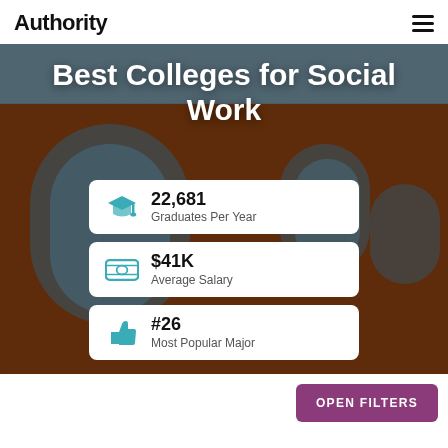Authority
Best Colleges for Social Work
22,681 Graduates Per Year
$41K Average Salary
#26 Most Popular Major
OPEN FILTERS